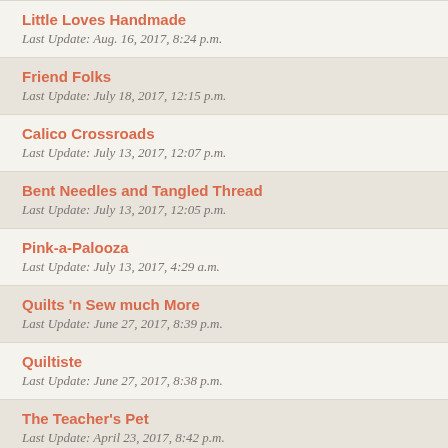Little Loves Handmade
Last Update: Aug. 16, 2017, 8:24 p.m.
Friend Folks
Last Update: July 18, 2017, 12:15 p.m.
Calico Crossroads
Last Update: July 13, 2017, 12:07 p.m.
Bent Needles and Tangled Thread
Last Update: July 13, 2017, 12:05 p.m.
Pink-a-Palooza
Last Update: July 13, 2017, 4:29 a.m.
Quilts 'n Sew much More
Last Update: June 27, 2017, 8:39 p.m.
Quiltiste
Last Update: June 27, 2017, 8:38 p.m.
The Teacher's Pet
Last Update: April 23, 2017, 8:42 p.m.
Fingertip Shopping
Last Update: March 31, 2017, 1:04 p.m.
Byrds Nest Quilt Shop